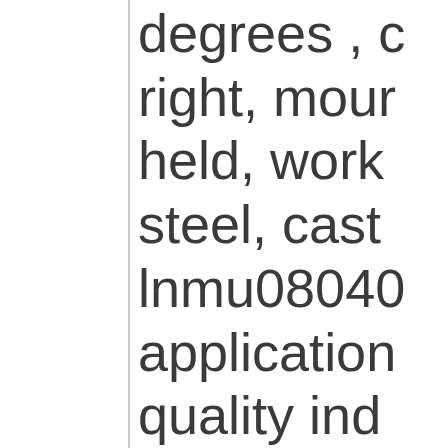degrees , c right, mour held, work steel, cast lnmu08040 application quality ind inserts by Manufactu LNMU080